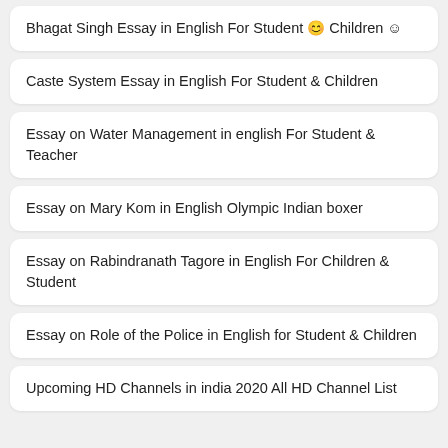Bhagat Singh Essay in English For Student 😊 Children ☺
Caste System Essay in English For Student & Children
Essay on Water Management in english For Student & Teacher
Essay on Mary Kom in English Olympic Indian boxer
Essay on Rabindranath Tagore in English For Children & Student
Essay on Role of the Police in English for Student & Children
Upcoming HD Channels in india 2020 All HD Channel List